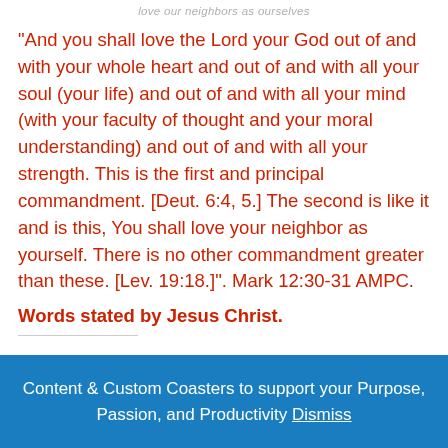love our neighbors as ourselves
“And you shall love the Lord your God out of and with your whole heart and out of and with all your soul (your life) and out of and with all your mind (with your faculty of thought and your moral understanding) and out of and with all your strength. This is the first and principal commandment. [Deut. 6:4, 5.] The second is like it and is this, You shall love your neighbor as yourself. There is no other commandment greater than these. [Lev. 19:18.]”. Mark 12:30-31 AMPC.
Words stated by Jesus Christ.
Content & Custom Coasters to support your Purpose, Passion, and Productivity Dismiss